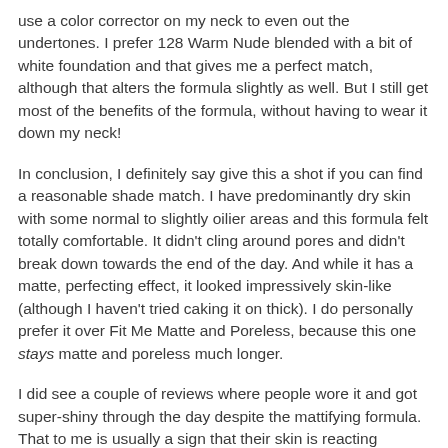use a color corrector on my neck to even out the undertones. I prefer 128 Warm Nude blended with a bit of white foundation and that gives me a perfect match, although that alters the formula slightly as well. But I still get most of the benefits of the formula, without having to wear it down my neck!
In conclusion, I definitely say give this a shot if you can find a reasonable shade match. I have predominantly dry skin with some normal to slightly oilier areas and this formula felt totally comfortable. It didn't cling around pores and didn't break down towards the end of the day. And while it has a matte, perfecting effect, it looked impressively skin-like (although I haven't tried caking it on thick). I do personally prefer it over Fit Me Matte and Poreless, because this one stays matte and poreless much longer.
I did see a couple of reviews where people wore it and got super-shiny through the day despite the mattifying formula. That to me is usually a sign that their skin is reacting negatively to the formula, and not that the foundation makes wearers oily. Just something to be aware of, as it can